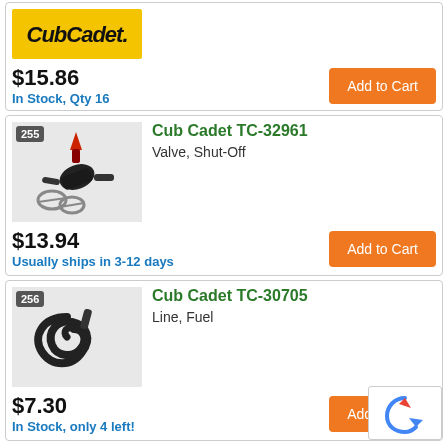[Figure (logo): Cub Cadet logo on yellow background]
$15.86
In Stock, Qty 16
Add to Cart
[Figure (photo): Valve Shut-Off part image, numbered 255]
Cub Cadet TC-32961
Valve, Shut-Off
$13.94
Usually ships in 3-12 days
Add to Cart
[Figure (photo): Fuel line part image, numbered 256]
Cub Cadet TC-30705
Line, Fuel
$7.30
In Stock, only 4 left!
Add to Cart